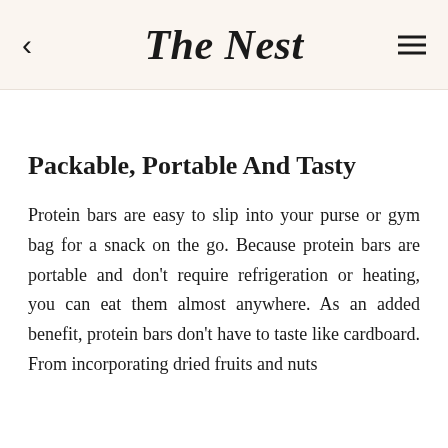The Nest
Packable, Portable And Tasty
Protein bars are easy to slip into your purse or gym bag for a snack on the go. Because protein bars are portable and don't require refrigeration or heating, you can eat them almost anywhere. As an added benefit, protein bars don't have to taste like cardboard. From incorporating dried fruits and nuts